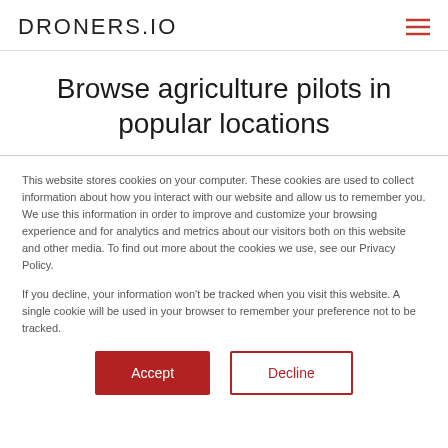DRONERS.IO
Browse agriculture pilots in popular locations
This website stores cookies on your computer. These cookies are used to collect information about how you interact with our website and allow us to remember you. We use this information in order to improve and customize your browsing experience and for analytics and metrics about our visitors both on this website and other media. To find out more about the cookies we use, see our Privacy Policy.

If you decline, your information won't be tracked when you visit this website. A single cookie will be used in your browser to remember your preference not to be tracked.
Accept | Decline